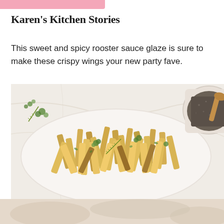Karen's Kitchen Stories
This sweet and spicy rooster sauce glaze is sure to make these crispy wings your new party fave.
[Figure (photo): Overhead photo of crispy french fries garnished with fresh herbs (rosemary and parsley) on a white oval plate, with a small bowl of black pepper and a wooden spoon visible in the upper right corner, on a white marble background.]
[Figure (photo): Bottom portion of a second food photo, showing chicken or similar food items on a light background.]